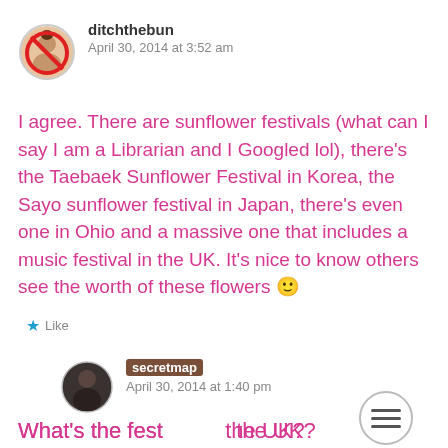[Figure (illustration): Avatar for ditchthebun: circular profile picture with a red no-sign overlay on a person with a bun hairstyle]
ditchthebun
April 30, 2014 at 3:52 am
I agree. There are sunflower festivals (what can I say I am a Librarian and I Googled lol), there's the Taebaek Sunflower Festival in Korea, the Sayo sunflower festival in Japan, there's even one in Ohio and a massive one that includes a music festival in the UK. It's nice to know others see the worth of these flowers 🙂
★ Like
[Figure (illustration): Avatar for secretmap: circular dark profile photo of a person]
secretmap
April 30, 2014 at 1:40 pm
What's the fest… the UK?
[Figure (illustration): Hamburger menu icon in a circle overlay]